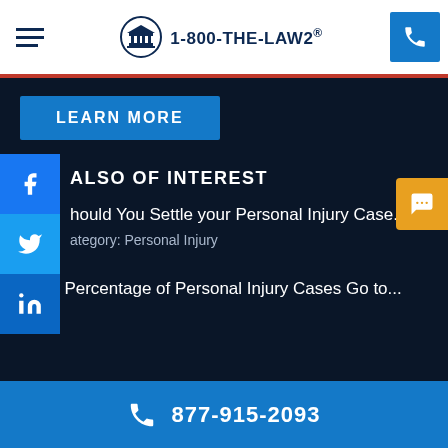1-800-THE-LAW2
LEARN MORE
ALSO OF INTEREST
hould You Settle your Personal Injury Case...
ategory: Personal Injury
What Percentage of Personal Injury Cases Go to...
877-915-2093